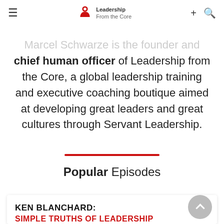Leadership From the Core — navigation bar with hamburger menu, logo, plus and search icons
Marcel Schwarze is the founder and chief human officer of Leadership from the Core, a global leadership training and executive coaching boutique aimed at developing great leaders and great cultures through Servant Leadership.
Popular Episodes
KEN BLANCHARD: SIMPLE TRUTHS OF LEADERSHIP — Dr. Ken Blanchard is respected for his lifetime of groundbreaking research and thought leadership...